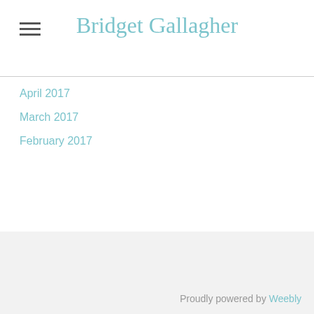Bridget Gallagher
April 2017
March 2017
February 2017
Proudly powered by Weebly